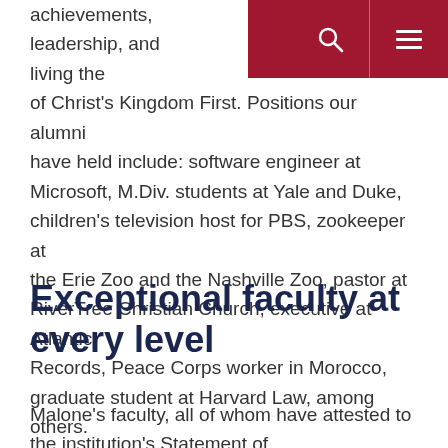achievements, leadership, and living the of Christ's Kingdom First. Positions our alumni have held include: software engineer at Microsoft, M.Div. students at Yale and Duke, children's television host for PBS, zookeeper at the Erie Zoo and the Nashville Zoo, pastor at RiverTree Christian Church, executive at Atlantic Records, Peace Corps worker in Morocco, graduate student at Harvard Law, among others.
Exceptional faculty at every level
Malone's faculty, all of whom have attested to the institution's Statement of...